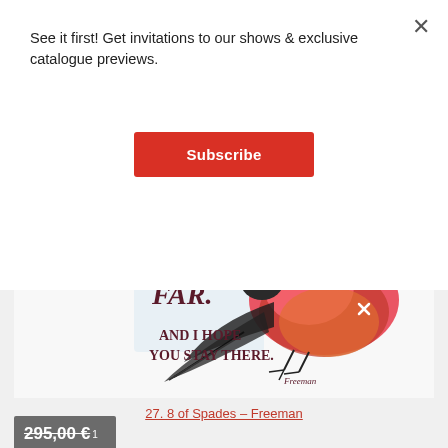See it first! Get invitations to our shows & exclusive catalogue previews.
Subscribe
[Figure (illustration): Artwork showing a bird (red and pink feathers) perched, with handwritten text reading 'GO FAR. AND I HOPE YOU STAY THERE.' with an artist signature 'Freeman' at the bottom right.]
27. 8 of Spades – Freeman
295,00 € 1